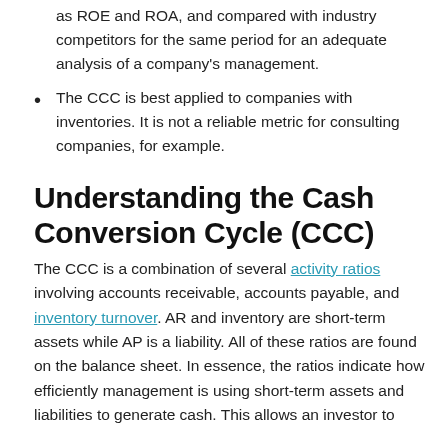as ROE and ROA, and compared with industry competitors for the same period for an adequate analysis of a company's management.
The CCC is best applied to companies with inventories. It is not a reliable metric for consulting companies, for example.
Understanding the Cash Conversion Cycle (CCC)
The CCC is a combination of several activity ratios involving accounts receivable, accounts payable, and inventory turnover. AR and inventory are short-term assets while AP is a liability. All of these ratios are found on the balance sheet. In essence, the ratios indicate how efficiently management is using short-term assets and liabilities to generate cash. This allows an investor to